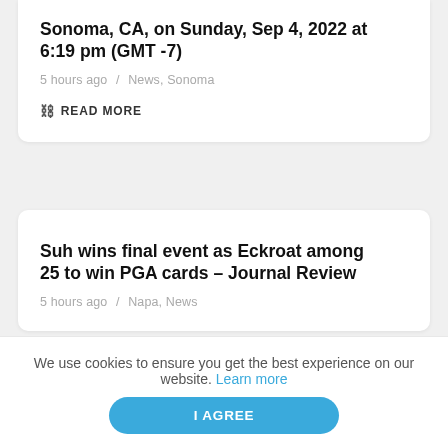Sonoma, CA, on Sunday, Sep 4, 2022 at 6:19 pm (GMT -7)
5 hours ago / News, Sonoma
READ MORE
Suh wins final event as Eckroat among 25 to win PGA cards – Journal Review
5 hours ago / Napa, News
We use cookies to ensure you get the best experience on our website. Learn more
I AGREE